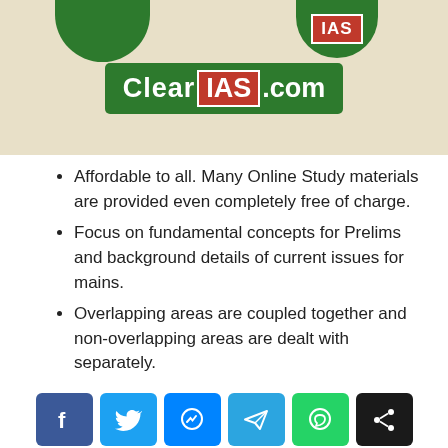[Figure (logo): ClearIAS.com logo banner on a tan/beige background with partial circular green badge top-left and IAS badge top-right]
Affordable to all. Many Online Study materials are provided even completely free of charge.
Focus on fundamental concepts for Prelims and background details of current issues for mains.
Overlapping areas are coupled together and non-overlapping areas are dealt with separately.
[Figure (infographic): Social media share buttons: Facebook, Twitter, Messenger, Telegram, WhatsApp, Share]